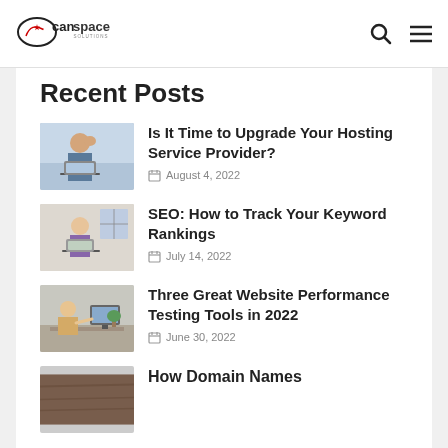CanSpace Solutions
Recent Posts
Is It Time to Upgrade Your Hosting Service Provider? — August 4, 2022
SEO: How to Track Your Keyword Rankings — July 14, 2022
Three Great Website Performance Testing Tools in 2022 — June 30, 2022
How Domain Names